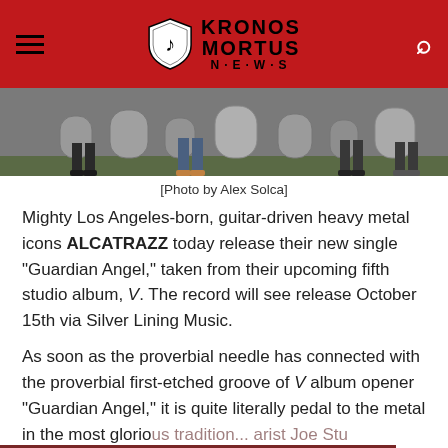Kronos Mortus News
[Figure (photo): Bottom portion of a photo showing band members' legs and feet walking among gravestones/tombstones outdoors]
[Photo by Alex Solca]
Mighty Los Angeles-born, guitar-driven heavy metal icons ALCATRAZZ today release their new single "Guardian Angel," taken from their upcoming fifth studio album, V. The record will see release October 15th via Silver Lining Music.
As soon as the proverbial needle has connected with the proverbial first-etched groove of V album opener "Guardian Angel," it is quite literally pedal to the metal in the most glorious tradition... guitarist Joe Stu... and guest drummer for the track, Nigel Glockler [Saxon], front-foot it from that first split second, screaming guitar
By continuing to use the site, you agree to the use of cookies.
More...
ACCEPT